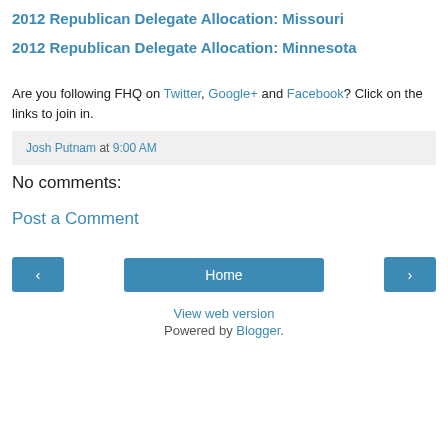2012 Republican Delegate Allocation: Missouri
2012 Republican Delegate Allocation: Minnesota
Are you following FHQ on Twitter, Google+ and Facebook? Click on the links to join in.
Josh Putnam at 9:00 AM
No comments:
Post a Comment
Home
View web version
Powered by Blogger.